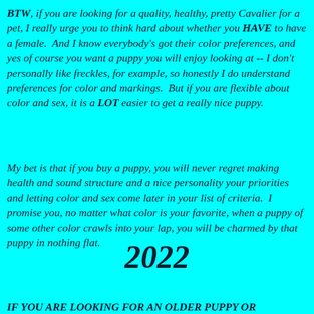BTW, if you are looking for a quality, healthy, pretty Cavalier for a pet, I really urge you to think hard about whether you HAVE to have a female.  And I know everybody's got their color preferences, and yes of course you want a puppy you will enjoy looking at -- I don't personally like freckles, for example, so honestly I do understand preferences for color and markings.  But if you are flexible about color and sex, it is a LOT easier to get a really nice puppy.
My bet is that if you buy a puppy, you will never regret making health and sound structure and a nice personality your priorities and letting color and sex come later in your list of criteria.  I promise you, no matter what color is your favorite, when a puppy of some other color crawls into your lap, you will be charmed by that puppy in nothing flat.
2022
IF YOU ARE LOOKING FOR AN OLDER PUPPY OR